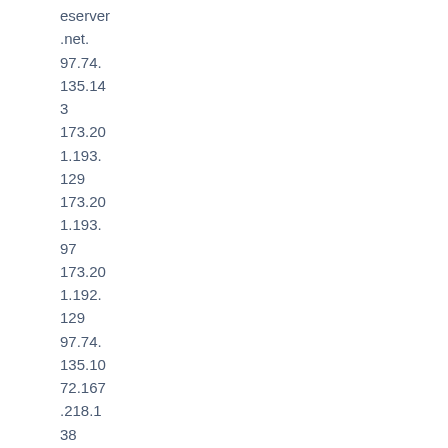eserver .net. 97.74. 135.14 3 173.20 1.193. 129 173.20 1.193. 97 173.20 1.192. 129 97.74. 135.10 72.167 .218.1 38 68.178 .252.1 17